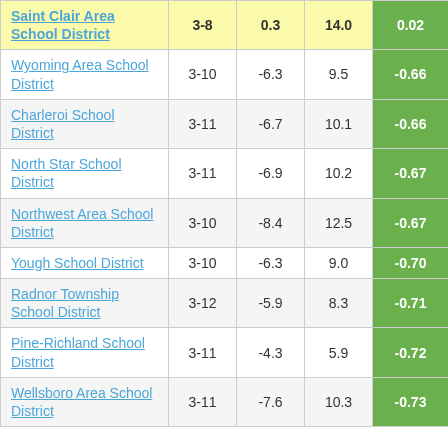| School District | Grades | Col3 | Col4 | Score |
| --- | --- | --- | --- | --- |
| Saint Clair Area School District | 3-8 | 0.3 | 14.0 | 0.02 |
| Wyoming Area School District | 3-10 | -6.3 | 9.5 | -0.66 |
| Charleroi School District | 3-11 | -6.7 | 10.1 | -0.66 |
| North Star School District | 3-11 | -6.9 | 10.2 | -0.67 |
| Northwest Area School District | 3-10 | -8.4 | 12.5 | -0.67 |
| Yough School District | 3-10 | -6.3 | 9.0 | -0.70 |
| Radnor Township School District | 3-12 | -5.9 | 8.3 | -0.71 |
| Pine-Richland School District | 3-11 | -4.3 | 5.9 | -0.72 |
| Wellsboro Area School District | 3-11 | -7.6 | 10.3 | -0.73 |